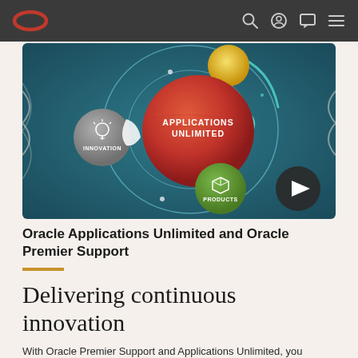Oracle navigation bar with Oracle logo and search, account, chat, and menu icons
[Figure (screenshot): Oracle Applications Unlimited promotional video thumbnail showing a teal/dark background with circular orbital diagram featuring a large red sphere labeled APPLICATIONS UNLIMITED, a grey sphere labeled INNOVATION with lightbulb icon, a green sphere labeled PRODUCTS with cube icon, a yellow/gold sphere, and a dark play button circle in the lower right corner.]
Oracle Applications Unlimited and Oracle Premier Support
Delivering continuous innovation
With Oracle Premier Support and Applications Unlimited, you control the roadmap to your success.